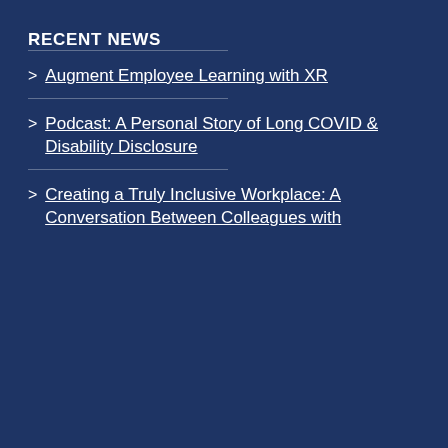RECENT NEWS
Augment Employee Learning with XR
Podcast: A Personal Story of Long COVID & Disability Disclosure
Creating a Truly Inclusive Workplace: A Conversation Between Colleagues with